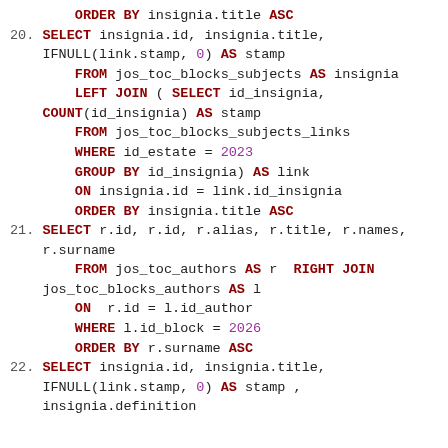SQL code listing items 20-22 with ORDER BY, SELECT, FROM, LEFT JOIN, COUNT, WHERE, GROUP BY, ON, RIGHT JOIN statements